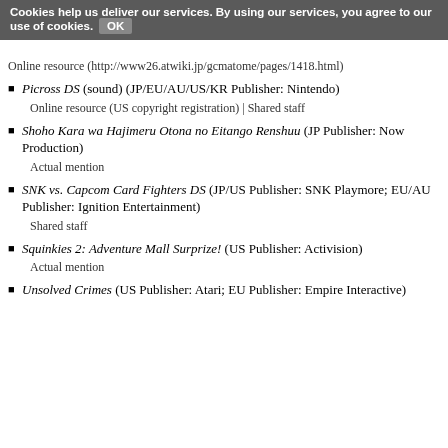Cookies help us deliver our services. By using our services, you agree to our use of cookies. OK
Online resource (http://www26.atwiki.jp/gcmatome/pages/1418.html)
Picross DS (sound) (JP/EU/AU/US/KR Publisher: Nintendo)
Online resource (US copyright registration) | Shared staff
Shoho Kara wa Hajimeru Otona no Eitango Renshuu (JP Publisher: Now Production)
Actual mention
SNK vs. Capcom Card Fighters DS (JP/US Publisher: SNK Playmore; EU/AU Publisher: Ignition Entertainment)
Shared staff
Squinkies 2: Adventure Mall Surprize! (US Publisher: Activision)
Actual mention
Unsolved Crimes (US Publisher: Atari; EU Publisher: Empire Interactive)